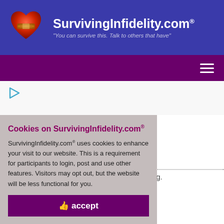SurvivingInfidelity.com® — "You can survive this. Talk to others that have"
[Figure (logo): SurvivingInfidelity.com logo with bandaged heart icon in red/gold and white site title text on dark blue background with tagline]
☰ (hamburger menu icon on purple nav bar)
[Figure (other): Small teal play button / ad icon]
art 3
stration. Please continue.
Topic is Sleeping.
n to Forums
Cookies on SurvivingInfidelity.com®
SurvivingInfidelity.com® uses cookies to enhance your visit to our website. This is a requirement for participants to login, post and use other features. Visitors may opt out, but the website will be less functional for you.
👍 accept
Policy